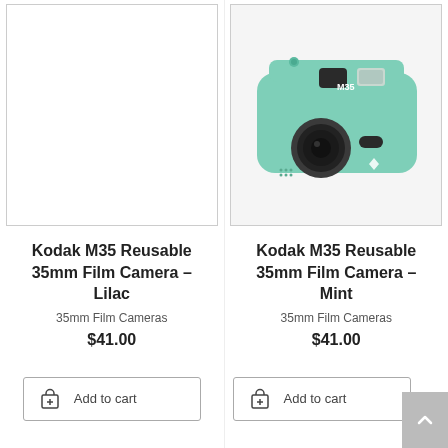[Figure (photo): Product image placeholder (white/empty) for Kodak M35 Reusable 35mm Film Camera - Lilac]
Kodak M35 Reusable 35mm Film Camera – Lilac
35mm Film Cameras
$41.00
[Figure (photo): Photo of a mint green Kodak M35 Reusable 35mm Film Camera with Kodak logo]
Kodak M35 Reusable 35mm Film Camera – Mint
35mm Film Cameras
$41.00